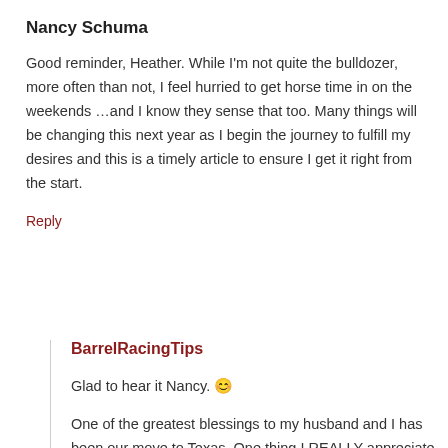Nancy Schuma
Good reminder, Heather. While I'm not quite the bulldozer, more often than not, I feel hurried to get horse time in on the weekends …and I know they sense that too. Many things will be changing this next year as I begin the journey to fulfill my desires and this is a timely article to ensure I get it right from the start.
Reply
BarrelRacingTips
Glad to hear it Nancy. 😊
One of the greatest blessings to my husband and I has been our move to Texas. One thing I REALLY appreciate